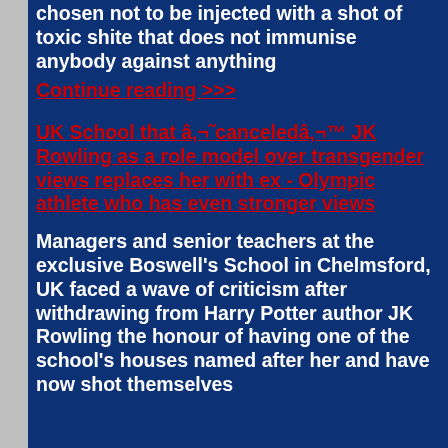chosen not to be injected with a shot of toxic shite that does not immunise anybody against anything
Continue reading >>>
UK School that â€˜canceledâ€™ JK Rowling as a role model over transgender views replaces her with ex - Olympic athlete who has even stronger views
Managers and senior teachers at the exclusive Boswell's School in Chelmsford, UK faced a wave of criticism after withdrawing from Harry Potter author JK Rowling the honour of having one of the school's houses named after her and have now shot themselves